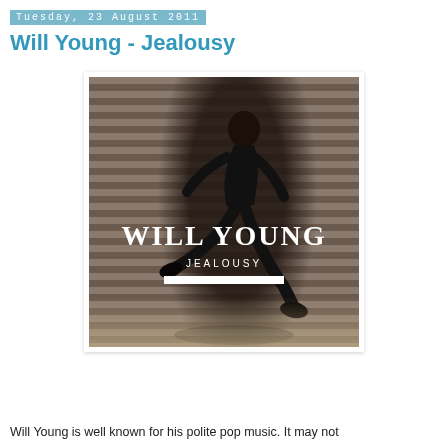Tuesday, 23 August 2011
Will Young - Jealousy
[Figure (photo): Album cover for Will Young - Jealousy. A man in a dark suit is running/leaping in front of metal shutters. Large white serif text reads 'WILL YOUNG' and below it 'JEALOUSY' with a white horizontal bar beneath.]
Will Young is well known for his polite pop music. It may not